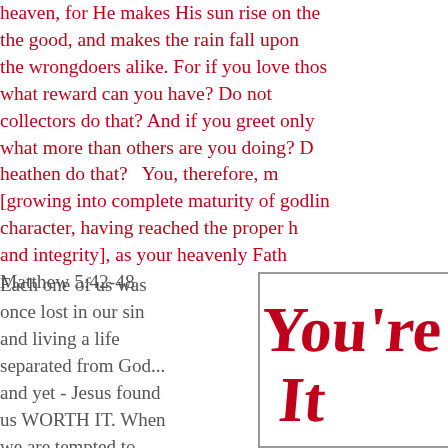heaven, for He makes His sun rise on the good, and makes the rain fall upon the wrongdoers alike. For if you love those what reward can you have? Do not collectors do that? And if you greet only what more than others are you doing? Do not heathen do that? You, therefore, must [growing into complete maturity of godliness character, having reached the proper height and integrity], as your heavenly Father Matthew 5:42-48
Each one of us was once lost in our sin and living a life separated from God... and yet - Jesus found us WORTH IT. When we are tempted to pull our judgmental swords and withhold God that has been shed abroad in our
[Figure (illustration): Handwritten text in red marker style reading 'YOU'RE WORTH IT' partially visible]